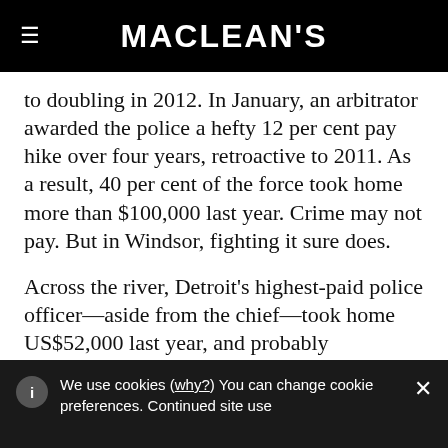MACLEAN'S
to doubling in 2012. In January, an arbitrator awarded the police a hefty 12 per cent pay hike over four years, retroactive to 2011. As a result, 40 per cent of the force took home more than $100,000 last year. Crime may not pay. But in Windsor, fighting it sure does.
Across the river, Detroit's highest-paid police officer—aside from the chief—took home US$52,000 last year, and probably
We use cookies (why?) You can change cookie preferences. Continued site use